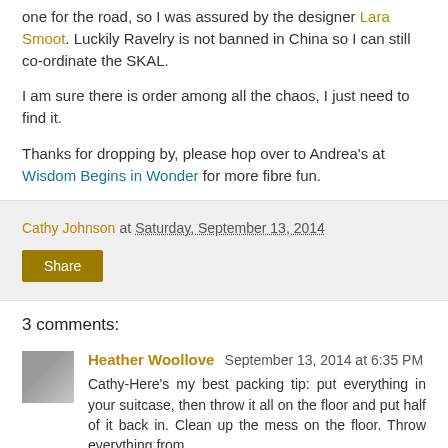one for the road, so I was assured by the designer Lara Smoot. Luckily Ravelry is not banned in China so I can still co-ordinate the SKAL.
I am sure there is order among all the chaos, I just need to find it.
Thanks for dropping by, please hop over to Andrea's at Wisdom Begins in Wonder for more fibre fun.
Cathy Johnson at Saturday, September 13, 2014
Share
3 comments:
Heather Woollove September 13, 2014 at 6:35 PM
Cathy-Here's my best packing tip: put everything in your suitcase, then throw it all on the floor and put half of it back in. Clean up the mess on the floor. Throw everything from